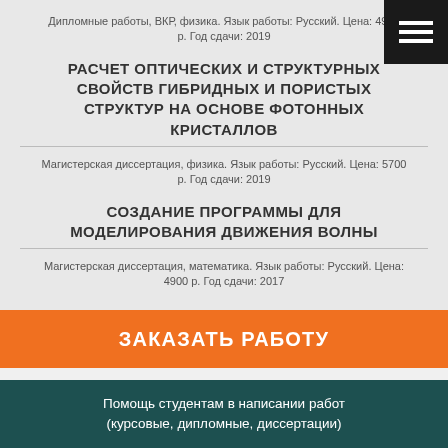Дипломные работы, ВКР, физика. Язык работы: Русский. Цена: 4900 р. Год сдачи: 2019
РАСЧЕТ ОПТИЧЕСКИХ И СТРУКТУРНЫХ СВОЙСТВ ГИБРИДНЫХ И ПОРИСТЫХ СТРУКТУР НА ОСНОВЕ ФОТОННЫХ КРИСТАЛЛОВ
Магистерская диссертация, физика. Язык работы: Русский. Цена: 5700 р. Год сдачи: 2019
СОЗДАНИЕ ПРОГРАММЫ ДЛЯ МОДЕЛИРОВАНИЯ ДВИЖЕНИЯ ВОЛНЫ
Магистерская диссертация, математика. Язык работы: Русский. Цена: 4900 р. Год сдачи: 2017
ЗАКАЗАТЬ РАБОТУ
Заявка на оценку стоимости
Предмет *
Помощь студентам в написании работ (курсовые, дипломные, диссертации)